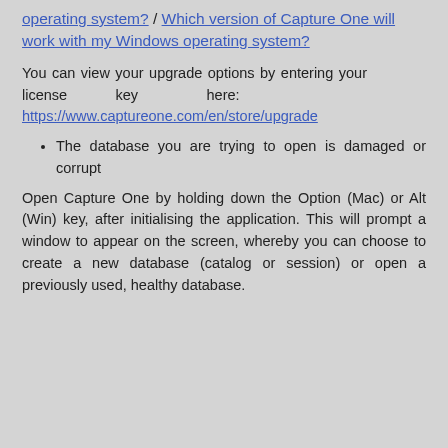operating system? / Which version of Capture One will work with my Windows operating system?
You can view your upgrade options by entering your license key here: https://www.captureone.com/en/store/upgrade
The database you are trying to open is damaged or corrupt
Open Capture One by holding down the Option (Mac) or Alt (Win) key, after initialising the application. This will prompt a window to appear on the screen, whereby you can choose to create a new database (catalog or session) or open a previously used, healthy database.